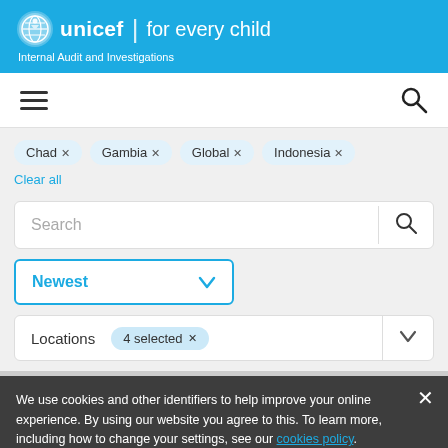unicef for every child | Internal Audit and Investigations
[Figure (screenshot): Hamburger menu icon and search icon navigation bar]
Chad × Gambia × Global × Indonesia ×
Clear all
Search
Newest ∨
Locations  4 selected ×  ∨
We use cookies and other identifiers to help improve your online experience. By using our website you agree to this. To learn more, including how to change your settings, see our cookies policy.